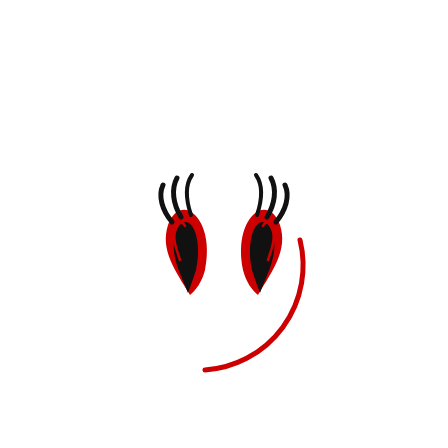[Figure (logo): A stylized logo featuring two symmetrical wing or horn-like shapes in black and red, with curved lines suggesting motion or feathers at the top, and a large partial red circle arc curving below and to the right of the central shapes, resembling a bull or abstract face icon.]